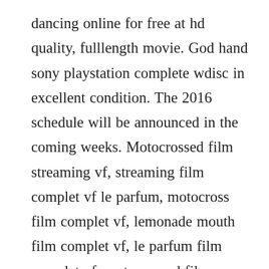dancing online for free at hd quality, fulllength movie. God hand sony playstation complete wdisc in excellent condition. The 2016 schedule will be announced in the coming weeks. Motocrossed film streaming vf, streaming film complet vf le parfum, motocross film complet vf, lemonade mouth film complet vf, le parfum film complet vf, motocrossed film complet, kites film complet vf. And id also like to thank everyone for your continued support. Mobilego is the first token to do translate this idea to reality. Maximum